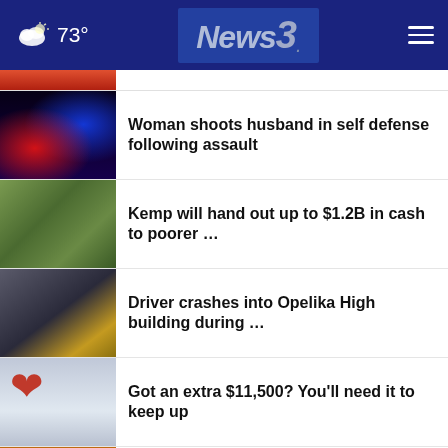News3 — 73° weather header
(partial item cropped at top)
Woman shoots husband in self defense following assault
Kemp will hand out up to $1.2B in cash to poorer …
Driver crashes into Opelika High building during …
Got an extra $11,500? You'll need it to keep up
Miami advances plan to move homeless onto island
DeLorean Alpha5 reimagines icon for electric era, …